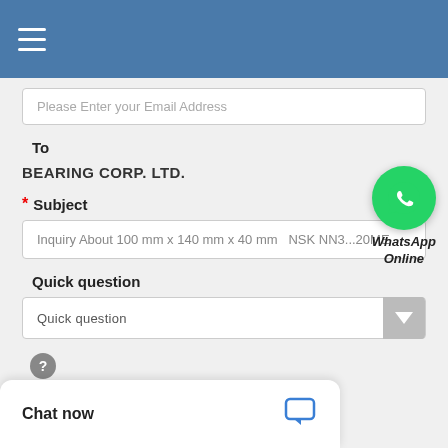[Figure (screenshot): Blue header navigation bar with hamburger menu icon (three white lines)]
Please Enter your Email Address
To
BEARING CORP. LTD.
* Subject
Inquiry About 100 mm x 140 mm x 40 mm  NSK NN3...20ME
[Figure (logo): WhatsApp green circle icon with phone handset, labeled 'WhatsApp Online' in italic bold text]
Quick question
Quick question
[Figure (other): Grey circular help/question mark icon]
Chat now